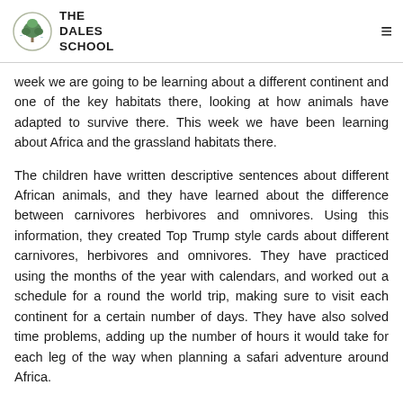THE DALES SCHOOL
week we are going to be learning about a different continent and one of the key habitats there, looking at how animals have adapted to survive there. This week we have been learning about Africa and the grassland habitats there.
The children have written descriptive sentences about different African animals, and they have learned about the difference between carnivores herbivores and omnivores. Using this information, they created Top Trump style cards about different carnivores, herbivores and omnivores. They have practiced using the months of the year with calendars, and worked out a schedule for a round the world trip, making sure to visit each continent for a certain number of days. They have also solved time problems, adding up the number of hours it would take for each leg of the way when planning a safari adventure around Africa.